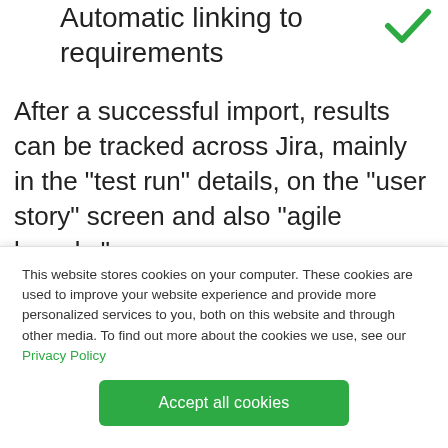Automatic linking to requirements
After a successful import, results can be tracked across Jira, mainly in the "test run" details, on the "user story" screen and also "agile boards."
This website stores cookies on your computer. These cookies are used to improve your website experience and provide more personalized services to you, both on this website and through other media. To find out more about the cookies we use, see our Privacy Policy
Accept all cookies